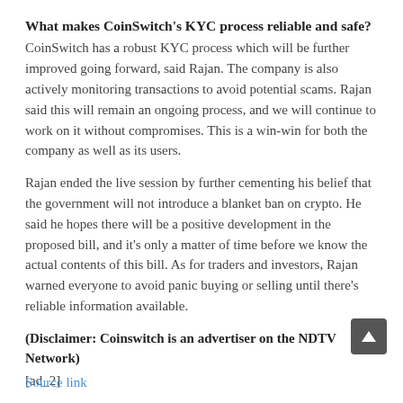What makes CoinSwitch's KYC process reliable and safe?
CoinSwitch has a robust KYC process which will be further improved going forward, said Rajan. The company is also actively monitoring transactions to avoid potential scams. Rajan said this will remain an ongoing process, and we will continue to work on it without compromises. This is a win-win for both the company as well as its users.
Rajan ended the live session by further cementing his belief that the government will not introduce a blanket ban on crypto. He said he hopes there will be a positive development in the proposed bill, and it's only a matter of time before we know the actual contents of this bill. As for traders and investors, Rajan warned everyone to avoid panic buying or selling until there's reliable information available.
(Disclaimer: Coinswitch is an advertiser on the NDTV Network)
[ad_2]
Source link